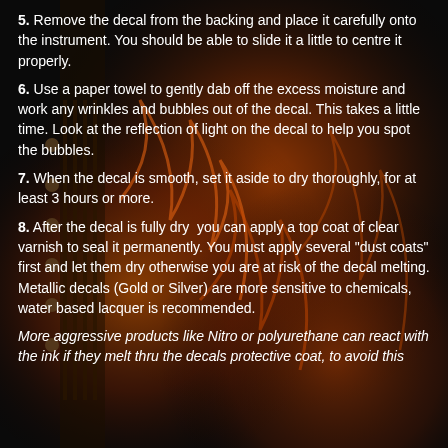5. Remove the decal from the backing and place it carefully onto the instrument. You should be able to slide it a little to centre it properly.
6. Use a paper towel to gently dab off the excess moisture and work any wrinkles and bubbles out of the decal. This takes a little time. Look at the reflection of light on the decal to help you spot the bubbles.
7. When the decal is smooth, set it aside to dry thoroughly, for at least 3 hours or more.
8. After the decal is fully dry  you can apply a top coat of clear varnish to seal it permanently. You must apply several "dust coats" first and let them dry otherwise you are at risk of the decal melting. Metallic decals (Gold or Silver) are more sensitive to chemicals, water based lacquer is recommended.
More aggressive products like Nitro or polyurethane can react with the ink if they melt thru the decals protective coat, to avoid this ...